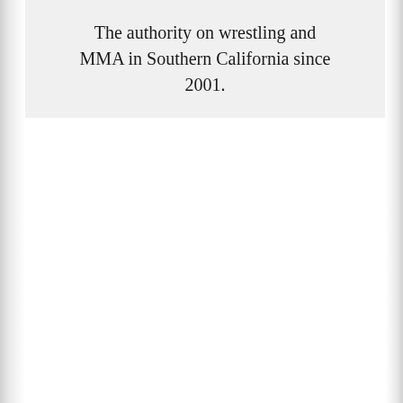The authority on wrestling and MMA in Southern California since 2001.